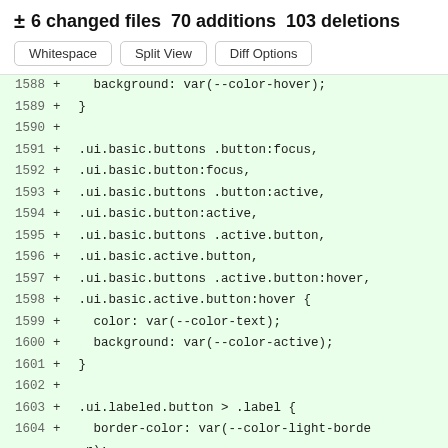± 6 changed files  70 additions  103 deletions
Whitespace  Split View  Diff Options
1588 + background: var(--color-hover);
1589 + }
1590 +
1591 + .ui.basic.buttons .button:focus,
1592 + .ui.basic.button:focus,
1593 + .ui.basic.buttons .button:active,
1594 + .ui.basic.button:active,
1595 + .ui.basic.buttons .active.button,
1596 + .ui.basic.active.button,
1597 + .ui.basic.buttons .active.button:hover,
1598 + .ui.basic.active.button:hover {
1599 + color: var(--color-text);
1600 + background: var(--color-active);
1601 + }
1602 +
1603 + .ui.labeled.button > .label {
1604 + border-color: var(--color-light-border);